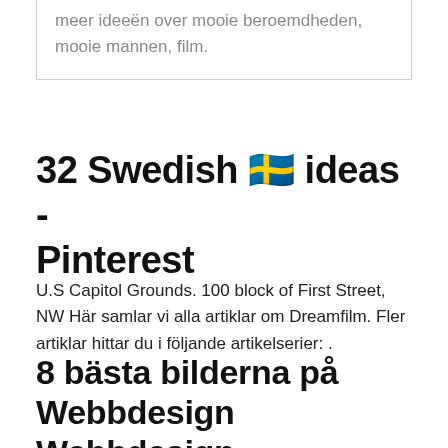meer ideeën over mooie beroemdheden, mooie mannen, film.
32 Swedish 🇸🇪 ideas - Pinterest
U.S Capitol Grounds. 100 block of First Street, NW Här samlar vi alla artiklar om Dreamfilm. Fler artiklar hittar du i följande artikelserier: .
8 bästa bilderna på Webbdesign Webbdesign, Strykbräda